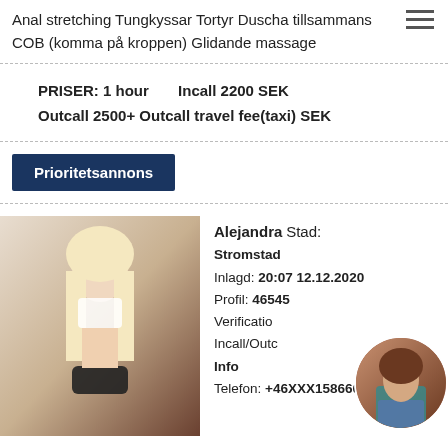Anal stretching Tungkyssar Tortyr Duscha tillsammans COB (komma på kroppen) Glidande massage
PRISER: 1 hour   Incall 2200 SEK
Outcall 2500+ Outcall travel fee(taxi) SEK
Prioritetsannons
[Figure (photo): Blonde woman photo placeholder]
Alejandra Stad: Stromstad
Inlagd: 20:07 12.12.2020
Profil: 46545
Verification
Incall/Outc
Info
Telefon: +46XXX158666
[Figure (photo): Circular thumbnail of brunette woman]